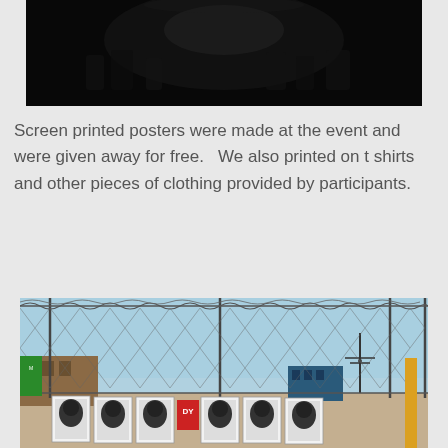[Figure (photo): Dark/silhouetted photo of people at an indoor event, very dark background]
Screen printed posters were made at the event and were given away for free.   We also printed on t shirts and other pieces of clothing provided by participants.
[Figure (photo): Outdoor photo showing a chain-link fence topped with razor wire, with screen printed posters/portraits leaning against a fence in front of urban buildings and a blue sky]